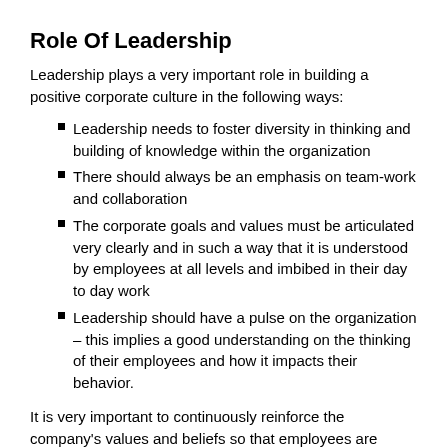Role Of Leadership
Leadership plays a very important role in building a positive corporate culture in the following ways:
Leadership needs to foster diversity in thinking and building of knowledge within the organization
There should always be an emphasis on team-work and collaboration
The corporate goals and values must be articulated very clearly and in such a way that it is understood by employees at all levels and imbibed in their day to day work
Leadership should have a pulse on the organization – this implies a good understanding on the thinking of their employees and how it impacts their behavior.
It is very important to continuously reinforce the company's values and beliefs so that employees are aligned. New employees must be trained and made aware of how they